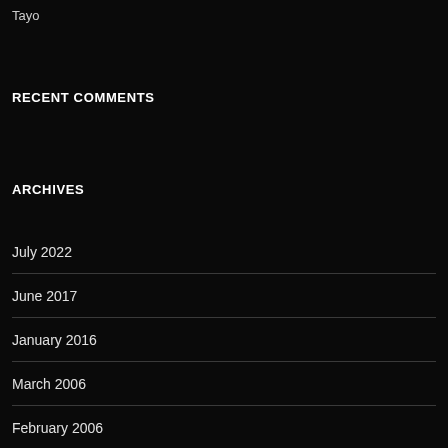Tayo
RECENT COMMENTS
ARCHIVES
July 2022
June 2017
January 2016
March 2006
February 2006
January 2006
December 2005